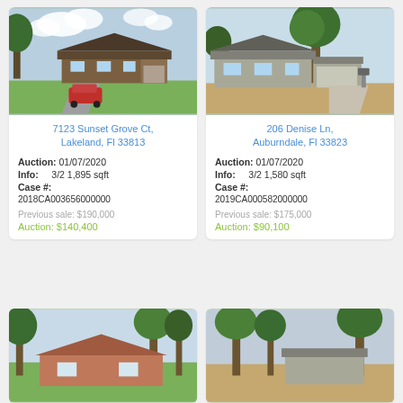[Figure (photo): House photo - 7123 Sunset Grove Ct, Lakeland FL, showing a ranch-style home with a red vehicle in the driveway and trees overhead]
7123 Sunset Grove Ct, Lakeland, Fl 33813
Auction: 01/07/2020
Info: 3/2 1,895 sqft
Case #: 2018CA003656000000
Previous sale: $190,000
Auction: $140,400
[Figure (photo): House photo - 206 Denise Ln, Auburndale FL, showing a light-colored ranch home with a large tree and long driveway]
206 Denise Ln, Auburndale, Fl 33823
Auction: 01/07/2020
Info: 3/2 1,580 sqft
Case #: 2019CA000582000000
Previous sale: $175,000
Auction: $90,100
[Figure (photo): Partial house photo at bottom left - showing a home with trees]
[Figure (photo): Partial house photo at bottom right - showing a home with trees and sky]